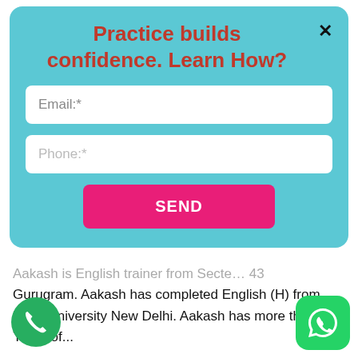Practice builds confidence. Learn How?
Email:*
Phone:*
SEND
Gurugram. Aakash has completed English (H) from Delhi University New Delhi. Aakash has more than 10 Years of...
Advance Communication Skills, English Grammar, Home Tutor, Interview Preparation Skills, Spoken English Trainers / Sector 43 Gurgaon / 778 views